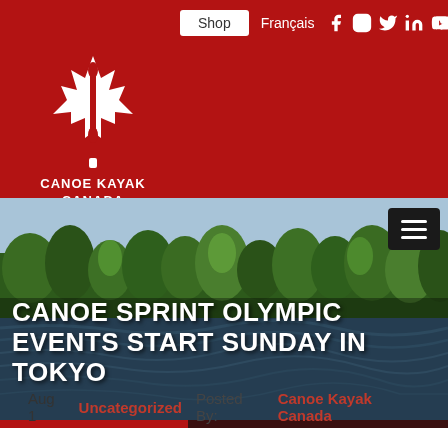Canoe Kayak Canada – website header with logo, Shop button, Français link, and social media icons (Facebook, Instagram, Twitter, LinkedIn, YouTube)
[Figure (screenshot): Canoe Kayak Canada logo: white maple leaf with canoe paddle, with text CANOE KAYAK CANADA below]
[Figure (photo): Hero banner: landscape photo of a lake with forested shoreline and blue choppy water. Contains headline text overlay: CANOE SPRINT OLYMPIC EVENTS START SUNDAY IN TOKYO]
CANOE SPRINT OLYMPIC EVENTS START SUNDAY IN TOKYO
Aug 1   Uncategorized   Posted By: Canoe Kayak Canada